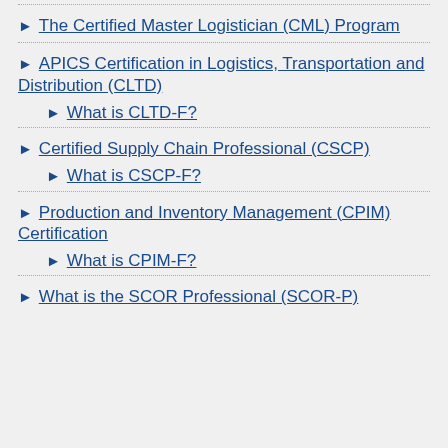The Certified Master Logistician (CML) Program
APICS Certification in Logistics, Transportation and Distribution (CLTD)
What is CLTD-F?
Certified Supply Chain Professional (CSCP)
What is CSCP-F?
Production and Inventory Management (CPIM) Certification
What is CPIM-F?
What is the SCOR Professional (SCOR-P)